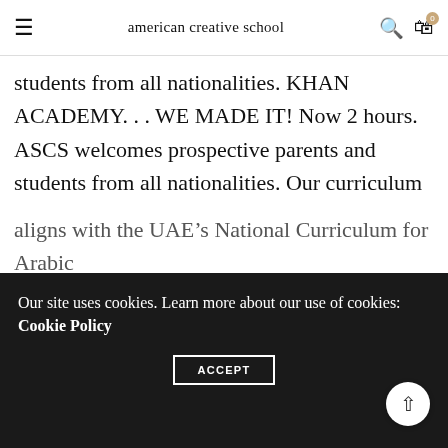american creative school
students from all nationalities. KHAN ACADEMY. . . WE MADE IT! Now 2 hours. ASCS welcomes prospective parents and students from all nationalities. Our curriculum nurtures, cultivates, and fosters creative and critical thinking skills. American Creative School. The company's filing status is listed as Current-Active and its File Number is 0003898. And together we can make our future Read More . Online Resources. We are proud to present the Department (state) winners of the 2019–2020 VFW Auxiliary's Young American Creative Patriotic Art Contest. P.O.Box 88, Sharjah, UAE
Our site uses cookies. Learn more about our use of cookies: Cookie Policy
ACCEPT